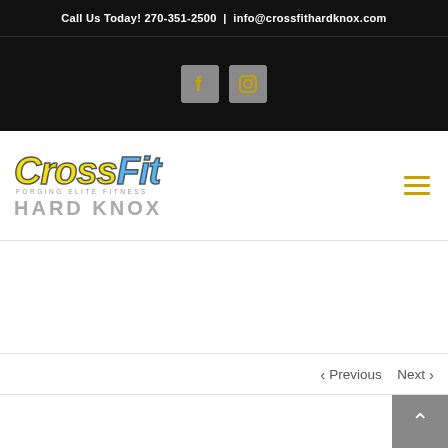Call Us Today! 270-351-2500  |  info@crossfithardknox.com
[Figure (logo): Social media icons: Facebook and Instagram buttons in gray square buttons on black background]
[Figure (logo): CrossFit Hard Knox logo — 'CrossFit' in yellow and blue italic bold text with 'FORGING ELITE FITNESS' tagline and 'HARD KNOX' in gray block letters below]
Previous   Next